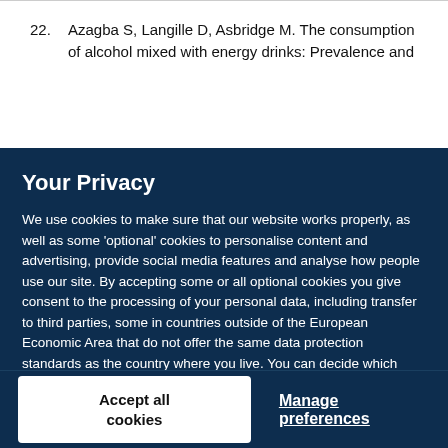22. Azagba S, Langille D, Asbridge M. The consumption of alcohol mixed with energy drinks: Prevalence and
Your Privacy
We use cookies to make sure that our website works properly, as well as some 'optional' cookies to personalise content and advertising, provide social media features and analyse how people use our site. By accepting some or all optional cookies you give consent to the processing of your personal data, including transfer to third parties, some in countries outside of the European Economic Area that do not offer the same data protection standards as the country where you live. You can decide which optional cookies to accept by clicking on 'Manage Settings', where you can also find more information about how your personal data is processed. Further information can be found in our privacy policy.
Accept all cookies
Manage preferences